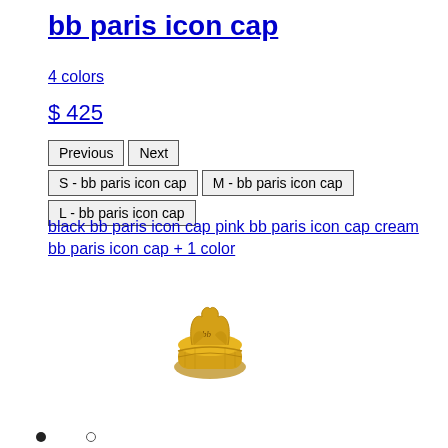bb paris icon cap
4 colors
$ 425
Previous  Next  S - bb paris icon cap  M - bb paris icon cap  L - bb paris icon cap
black bb paris icon cap pink bb paris icon cap cream bb paris icon cap + 1 color
[Figure (photo): Gold-colored decorative ring with ornate design including crown-like elements and script lettering]
• ○